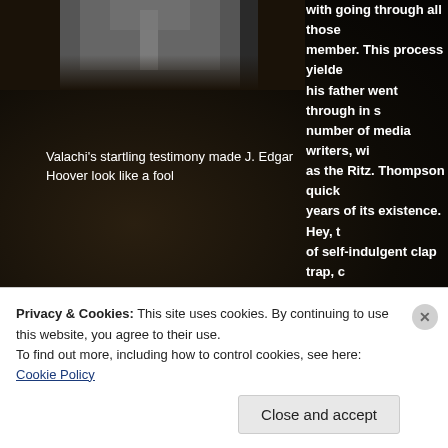[Figure (photo): Black and white portrait photo of a man in a suit, partially visible at top left, cropped]
[Figure (photo): Color wedding photo showing group of people including bride with bouquet, at bottom right, partially cropped]
Valachi's startling testimony made J. Edgar Hoover look like a fool
with going through all those member. This process yielde his father went through in s number of media writers, wi as the Ritz. Thompson quick years of its existence. Hey, t of self-indulgent clap trap, c culture, rather than the impact itself, and as a result, exuding the coolness
A Family Affair
Privacy & Cookies: This site uses cookies. By continuing to use this website, you agree to their use.
To find out more, including how to control cookies, see here: Cookie Policy
Close and accept